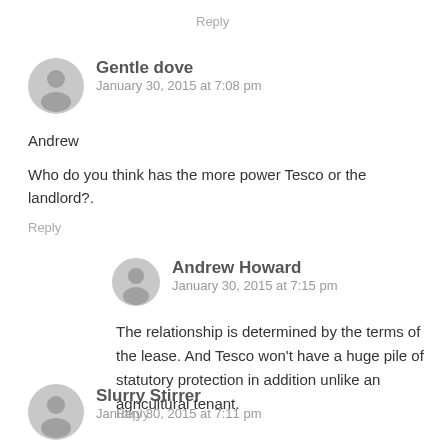Reply
Gentle dove
January 30, 2015 at 7:08 pm
Andrew
Who do you think has the more power Tesco or the landlord?.
Reply
Andrew Howard
January 30, 2015 at 7:15 pm
The relationship is determined by the terms of the lease. And Tesco won't have a huge pile of statutory protection in addition unlike an agricultural tenant.
Reply
Slurry Stirrer
January 30, 2015 at 7:11 pm